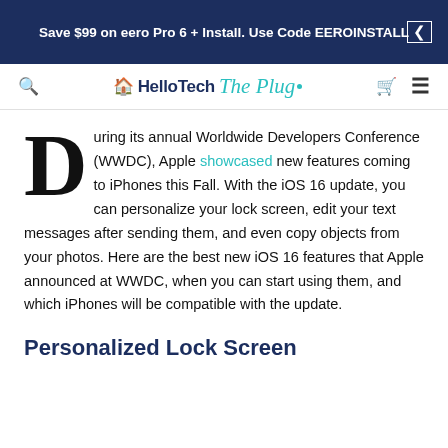Save $99 on eero Pro 6 + Install. Use Code EEROINSTALL
[Figure (logo): HelloTech The Plug logo with house icon in dark navy and teal cursive]
During its annual Worldwide Developers Conference (WWDC), Apple showcased new features coming to iPhones this Fall. With the iOS 16 update, you can personalize your lock screen, edit your text messages after sending them, and even copy objects from your photos. Here are the best new iOS 16 features that Apple announced at WWDC, when you can start using them, and which iPhones will be compatible with the update.
Personalized Lock Screen